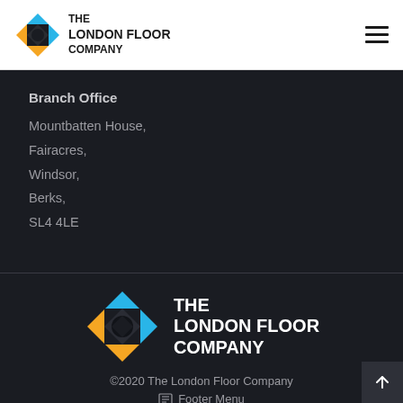[Figure (logo): The London Floor Company logo with colorful diamond/cross pattern icon and bold uppercase text]
Branch Office
Mountbatten House,
Fairacres,
Windsor,
Berks,
SL4 4LE
[Figure (logo): The London Floor Company large footer logo with colorful diamond pattern icon and white bold uppercase text]
©2020 The London Floor Company
Footer Menu